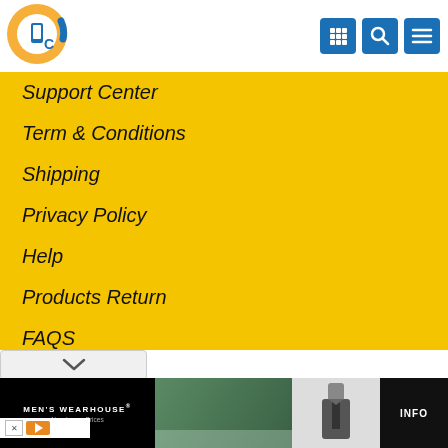[Figure (logo): Circular logo with mobile phone icon and 'C' letter, blue and orange gradient]
[Figure (infographic): Three blue square icon buttons: grid/apps, search magnifier, hamburger menu]
Support Center
Term & Conditions
Shipping
Privacy Policy
Help
Products Return
FAQS
[Figure (screenshot): Dropdown chevron control bar]
[Figure (photo): Men's Wearhouse advertisement banner showing couple in formal wear, suit thumbnail, and INFO button]